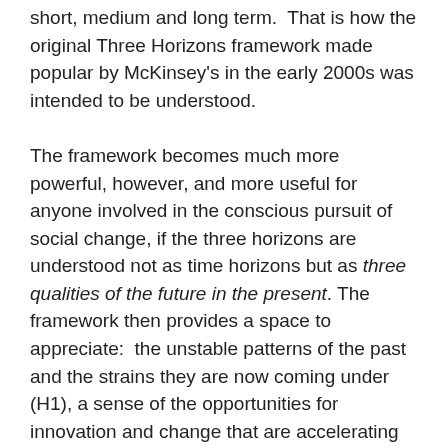short, medium and long term.  That is how the original Three Horizons framework made popular by McKinsey's in the early 2000s was intended to be understood.
The framework becomes much more powerful, however, and more useful for anyone involved in the conscious pursuit of social change, if the three horizons are understood not as time horizons but as three qualities of the future in the present. The framework then provides a space to appreciate:  the unstable patterns of the past and the strains they are now coming under (H1), a sense of the opportunities for innovation and change that are accelerating all around us (H2), and also the potential for the present moment to act as a portal (to use Arundhati Roy's language) to a very different future, founded on different values (H3).